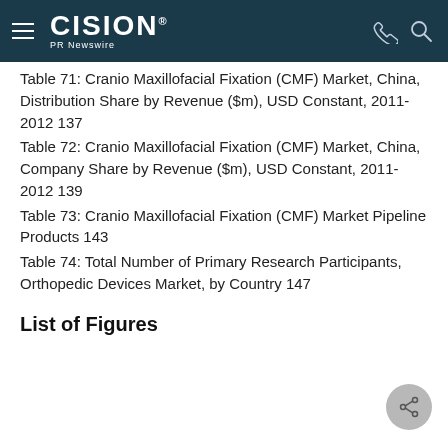CISION PR Newswire
Table 71: Cranio Maxillofacial Fixation (CMF) Market, China, Distribution Share by Revenue ($m), USD Constant, 2011-2012 137
Table 72: Cranio Maxillofacial Fixation (CMF) Market, China, Company Share by Revenue ($m), USD Constant, 2011-2012 139
Table 73: Cranio Maxillofacial Fixation (CMF) Market Pipeline Products 143
Table 74: Total Number of Primary Research Participants, Orthopedic Devices Market, by Country 147
List of Figures